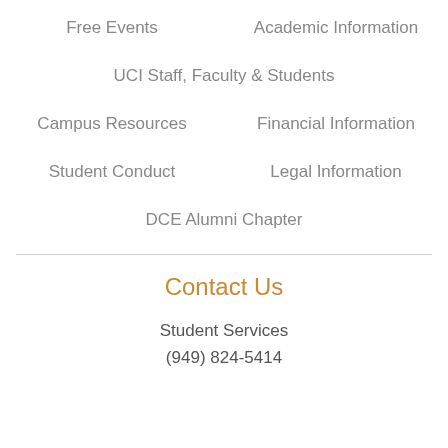Free Events
Academic Information
UCI Staff, Faculty & Students
Campus Resources
Financial Information
Student Conduct
Legal Information
DCE Alumni Chapter
Contact Us
Student Services
(949) 824-5414